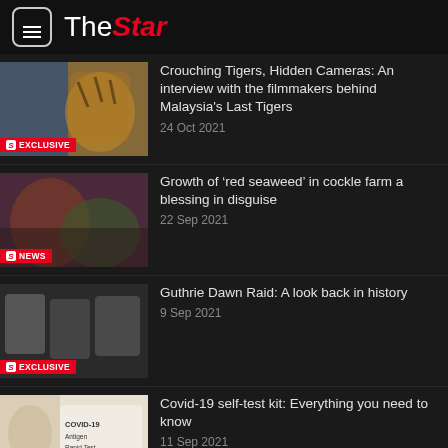TheStar
[Figure (screenshot): Thumbnail image of tiger and filmmakers with EXCLUSIVE badge]
Crouching Tigers, Hidden Cameras: An interview with the filmmakers behind Malaysia's Last Tigers
24 Oct 2021
[Figure (screenshot): Thumbnail image of people with seaweed with NEWS badge]
Growth of ‘red seaweed’ in cockle farm a blessing in disguise
22 Sep 2021
[Figure (screenshot): Thumbnail image of Guthrie Dawn Raid historical photo with EXCLUSIVE badge]
Guthrie Dawn Raid: A look back in history
9 Sep 2021
[Figure (screenshot): Thumbnail image of man with COVID-19 Antigen Rapid Test kit with EXCLUSIVE badge]
Covid-19 self-test kit: Everything you need to know
11 Sep 2021
[Figure (screenshot): Thumbnail image partial - popiah article]
Traditional art of crafting popiah